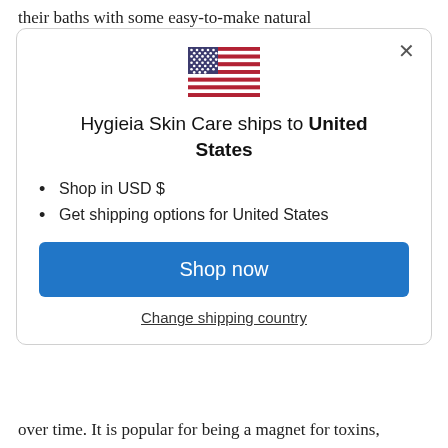their baths with some easy-to-make natural
[Figure (screenshot): A modal dialog popup from Hygieia Skin Care website showing a US flag emoji, text 'Hygieia Skin Care ships to United States', two bullet points about shopping in USD and getting shipping options, a blue 'Shop now' button, and a 'Change shipping country' link.]
over time. It is popular for being a magnet for toxins,